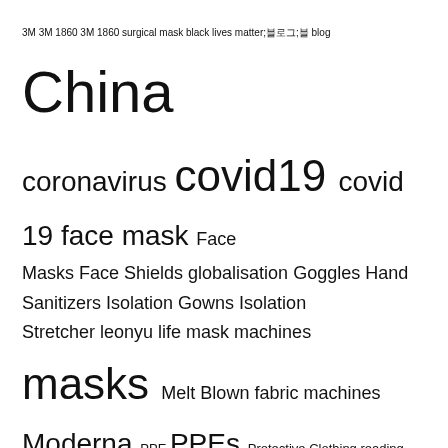3M 3M 1860 3M 1860 surgical mask black lives matter;블로그;블로 blog China coronavirus covid19 covid 19 face mask Face Masks Face Shields globalisation Goggles Hand Sanitizers Isolation Gowns Isolation Stretcher leonyu life mask machines masks Melt Blown fabric machines Moderna PPE PPEs Protective Clothing reading reading summary Roam Research SEO supply chain surgical mask The economist urbanization wiki 마스크 마스크 안면 비교 마스크 공장위치 마스크공장 비교 마스크공장위치 마스크끈길이마스크필터마스크 조달청 마스크 규격 규격
Home   About Me   Contact   Privacy Policy
Leon's World